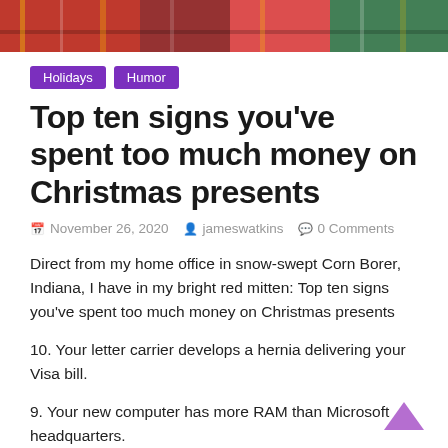[Figure (photo): Hero image showing colorful Christmas presents and wrapping paper at the top of the page]
Holidays   Humor
Top ten signs you've spent too much money on Christmas presents
November 26, 2020   jameswatkins   0 Comments
Direct from my home office in snow-swept Corn Borer, Indiana, I have in my bright red mitten: Top ten signs you've spent too much money on Christmas presents
10. Your letter carrier develops a hernia delivering your Visa bill.
9. Your new computer has more RAM than Microsoft headquarters.